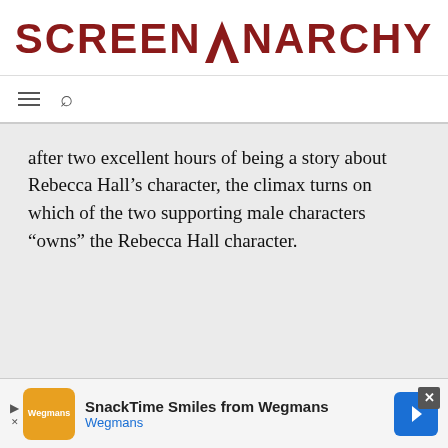SCREENANARCHY
after two excellent hours of being a story about Rebecca Hall’s character, the climax turns on which of the two supporting male characters “owns” the Rebecca Hall character.
[Figure (infographic): Advertisement banner: SnackTime Smiles from Wegmans with Wegmans logo and navigation arrow icon, close button]